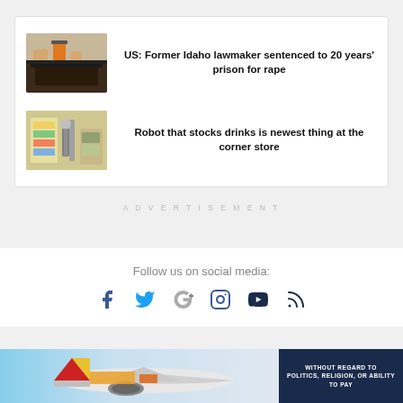[Figure (photo): News article thumbnail: people in a courtroom]
US: Former Idaho lawmaker sentenced to 20 years' prison for rape
[Figure (photo): News article thumbnail: robot stocking drinks in a store]
Robot that stocks drinks is newest thing at the corner store
ADVERTISEMENT
Follow us on social media:
[Figure (other): Social media icons: Facebook, Twitter, Google+, Instagram, YouTube, RSS]
[Figure (photo): Bottom advertisement banner with airplane and text WITHOUT REGARD TO POLITICS, RELIGION, OR ABILITY TO PAY]